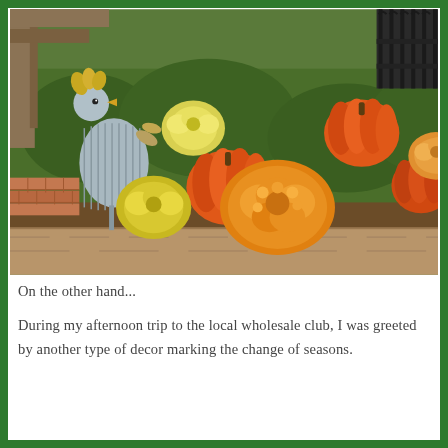[Figure (photo): Outdoor autumn/fall garden display with orange pumpkins, yellow and orange chrysanthemum mums, green foliage, and a decorative metal rooster/chicken figure made of corrugated metal, arranged in a wooden planter box.]
On the other hand...
During my afternoon trip to the local wholesale club, I was greeted by another type of decor marking the change of seasons.